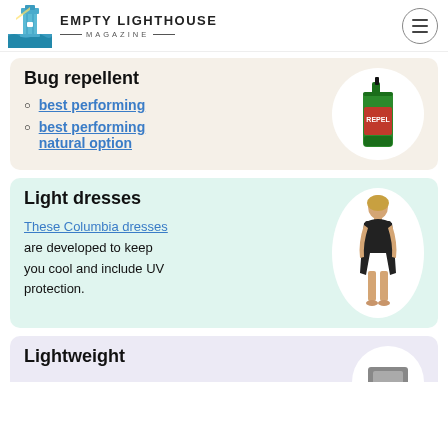EMPTY LIGHTHOUSE MAGAZINE
Bug repellent
best performing
best performing natural option
[Figure (photo): Green Repel bug spray bottle in white circle on beige background]
Light dresses
These Columbia dresses are developed to keep you cool and include UV protection.
[Figure (photo): Woman wearing a black dress, shown in white circle on mint background]
Lightweight